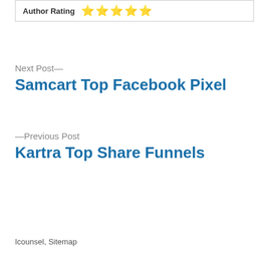Author Rating ⭐⭐⭐⭐⭐
Next Post—
Samcart Top Facebook Pixel
—Previous Post
Kartra Top Share Funnels
Icounsel, Sitemap